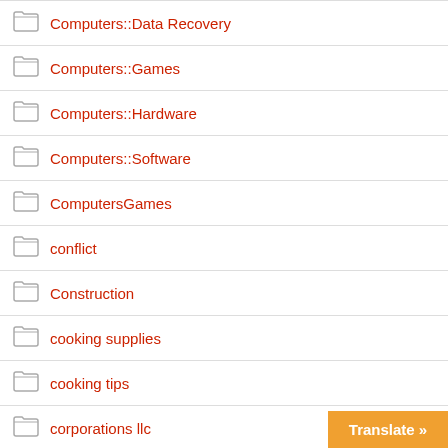Computers::Data Recovery
Computers::Games
Computers::Hardware
Computers::Software
ComputersGames
conflict
Construction
cooking supplies
cooking tips
corporations llc